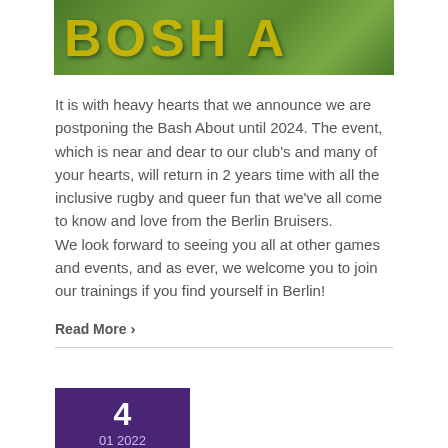[Figure (photo): Green grassy background image with large yellow/gold bold text partially visible at the top, appearing to be a banner for a rugby event called 'Bash About'.]
It is with heavy hearts that we announce we are postponing the Bash About until 2024. The event, which is near and dear to our club's and many of your hearts, will return in 2 years time with all the inclusive rugby and queer fun that we've all come to know and love from the Berlin Bruisers.
We look forward to seeing you all at other games and events, and as ever, we welcome you to join our trainings if you find yourself in Berlin!
Read More >
[Figure (other): Purple/violet square date block showing the number 4 and below it '01 2022', representing a date stamp for a post or event.]